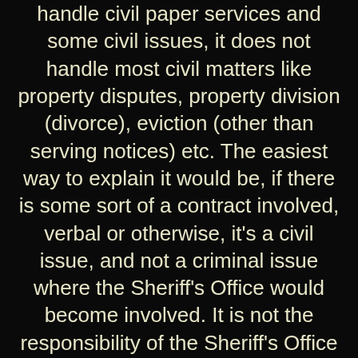handle civil paper services and some civil issues, it does not handle most civil matters like property disputes, property division (divorce), eviction (other than serving notices) etc. The easiest way to explain it would be, if there is some sort of a contract involved, verbal or otherwise, it's a civil issue, and not a criminal issue where the Sheriff's Office would become involved. It is not the responsibility of the Sheriff's Office to arbitrate in civil matters, and the Sheriff's Office is barred by statute from providing legal advice. Likewise, the Sheriff's Office if called to a civil matter for stand-by is there for public safety and is not there to